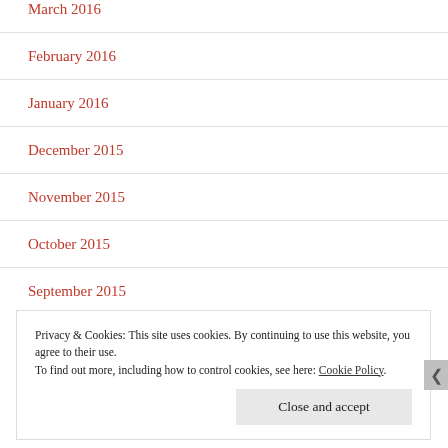March 2016
February 2016
January 2016
December 2015
November 2015
October 2015
September 2015
Privacy & Cookies: This site uses cookies. By continuing to use this website, you agree to their use.
To find out more, including how to control cookies, see here: Cookie Policy
Close and accept